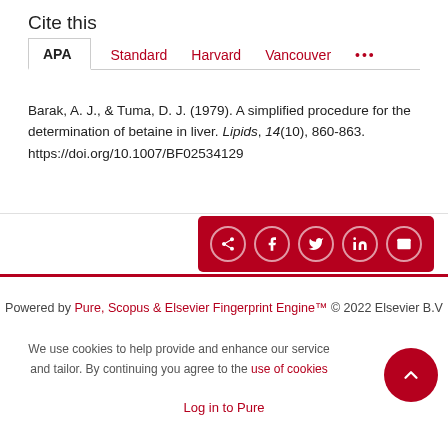Cite this
APA   Standard   Harvard   Vancouver   ...
Barak, A. J., & Tuma, D. J. (1979). A simplified procedure for the determination of betaine in liver. Lipids, 14(10), 860-863. https://doi.org/10.1007/BF02534129
[Figure (other): Share icons bar with share, Facebook, Twitter, LinkedIn, and email icon buttons on a dark red background]
Powered by Pure, Scopus & Elsevier Fingerprint Engine™ © 2022 Elsevier B.V
We use cookies to help provide and enhance our service and tailor. By continuing you agree to the use of cookies
Log in to Pure